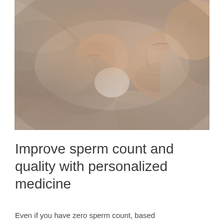[Figure (photo): A newborn baby and an adult man (father) sleeping together wrapped in soft grey/brown blankets, photographed in warm, muted tones.]
Improve sperm count and quality with personalized medicine
Even if you have zero sperm count, based